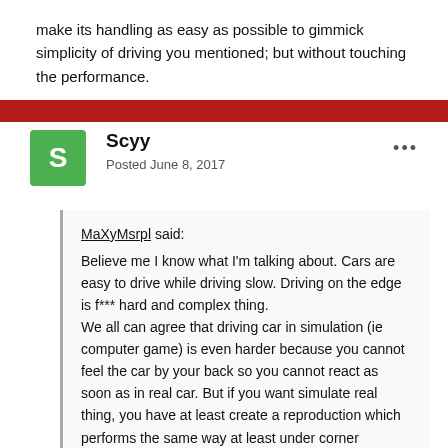make its handling as easy as possible to gimmick simplicity of driving you mentioned; but without touching the performance.
Scyy
Posted June 8, 2017
MaXyMsrpl said:
Believe me I know what I'm talking about. Cars are easy to drive while driving slow. Driving on the edge is f*** hard and complex thing. We all can agree that driving car in simulation (ie computer game) is even harder because you cannot feel the car by your back so you cannot react as soon as in real car. But if you want simulate real thing, you have at least create a reproduction which performs the same way at least under corner conditions. Since that you cannot create a car which has a